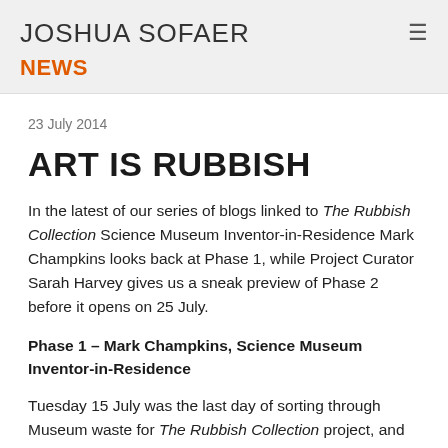JOSHUA SOFAER NEWS
23 July 2014
ART IS RUBBISH
In the latest of our series of blogs linked to The Rubbish Collection Science Museum Inventor-in-Residence Mark Champkins looks back at Phase 1, while Project Curator Sarah Harvey gives us a sneak preview of Phase 2 before it opens on 25 July.
Phase 1 – Mark Champkins, Science Museum Inventor-in-Residence
Tuesday 15 July was the last day of sorting through Museum waste for The Rubbish Collection project, and my